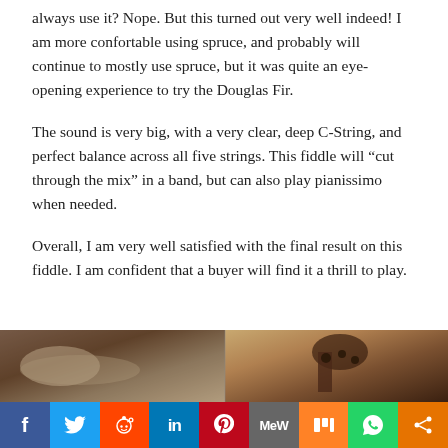always use it? Nope. But this turned out very well indeed! I am more confortable using spruce, and probably will continue to mostly use spruce, but it was quite an eye-opening experience to try the Douglas Fir.
The sound is very big, with a very clear, deep C-String, and perfect balance across all five strings. This fiddle will “cut through the mix” in a band, but can also play pianissimo when needed.
Overall, I am very well satisfied with the final result on this fiddle. I am confident that a buyer will find it a thrill to play.
[Figure (photo): Two-panel photo: left panel shows a textured knitted or woven fabric in cream/beige tones on a brown surface; right panel shows the scroll and pegbox of a fiddle/violin with tuning pegs, against a patterned fabric background.]
[Figure (infographic): Social media sharing bar with icons for Facebook (blue), Twitter (light blue), Reddit (orange-red), LinkedIn (dark blue), Pinterest (red), MeWe (gray), Mix (orange), WhatsApp (green), and a share icon (orange).]